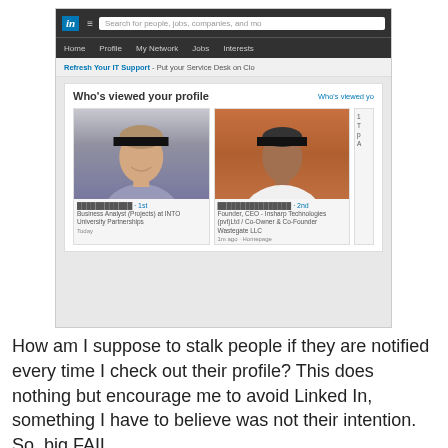[Figure (screenshot): Screenshot of LinkedIn 'Who's viewed your profile' page showing two profile photos with redacted eyes (black bars over eyes), navigation bar, search bar, and profile viewer cards with job titles and timestamps.]
How am I suppose to stalk people if they are notified every time I check out their profile? This does nothing but encourage me to avoid Linked In, something I have to believe was not their intention. So, big FAIL.